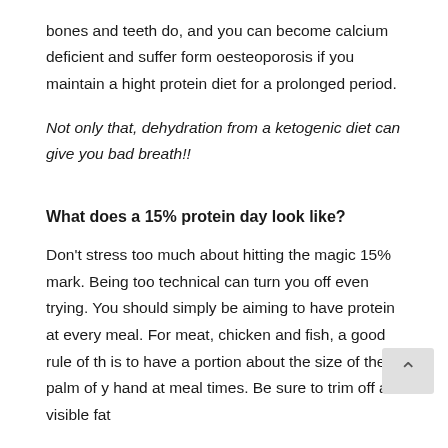bones and teeth do, and you can become calcium deficient and suffer form oesteoporosis if you maintain a hight protein diet for a prolonged period.
Not only that, dehydration from a ketogenic diet can give you bad breath!!
What does a 15% protein day look like?
Don't stress too much about hitting the magic 15% mark. Being too technical can turn you off even trying. You should simply be aiming to have protein at every meal. For meat, chicken and fish, a good rule of th is to have a portion about the size of the palm of y hand at meal times. Be sure to trim off all visible fat